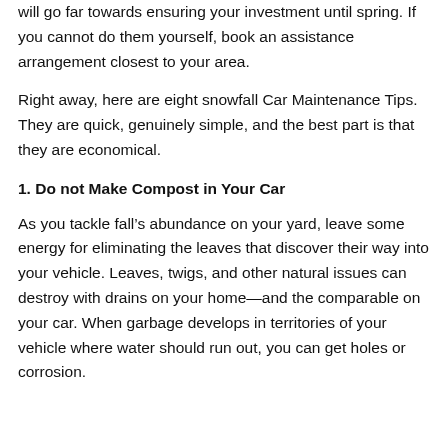will go far towards ensuring your investment until spring. If you cannot do them yourself, book an assistance arrangement closest to your area.
Right away, here are eight snowfall Car Maintenance Tips. They are quick, genuinely simple, and the best part is that they are economical.
1. Do not Make Compost in Your Car
As you tackle fall’s abundance on your yard, leave some energy for eliminating the leaves that discover their way into your vehicle. Leaves, twigs, and other natural issues can destroy with drains on your home—and the comparable on your car. When garbage develops in territories of your vehicle where water should run out, you can get holes or corrosion.